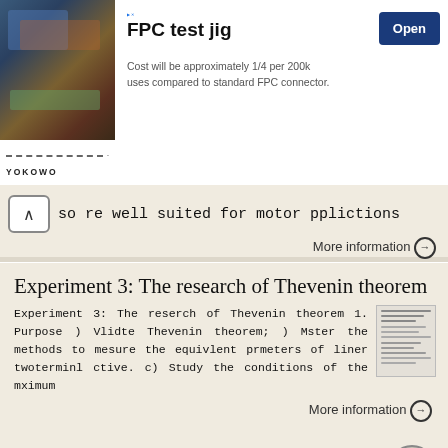[Figure (screenshot): Advertisement banner for FPC test jig by YOKOWO with Open button]
so re well suited for motor pplictions
More information →
Experiment 3: The research of Thevenin theorem
Experiment 3: The reserch of Thevenin theorem 1. Purpose ) Vlidte Thevenin theorem; ) Mster the methods to mesure the equivlent prmeters of liner twoterminl ctive. c) Study the conditions of the mximum
More information →
CHAPTER 2 LITERATURE STUDY